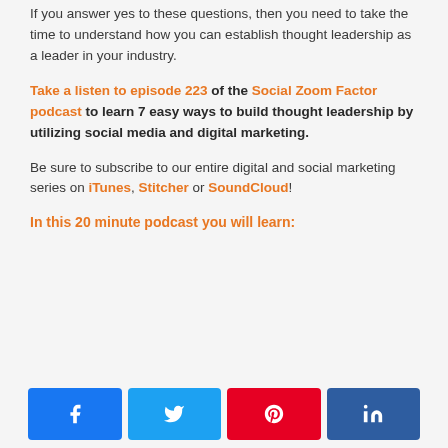If you answer yes to these questions, then you need to take the time to understand how you can establish thought leadership as a leader in your industry.
Take a listen to episode 223 of the Social Zoom Factor podcast to learn 7 easy ways to build thought leadership by utilizing social media and digital marketing.
Be sure to subscribe to our entire digital and social marketing series on iTunes, Stitcher or SoundCloud!
In this 20 minute podcast you will learn:
[Figure (other): Social share buttons: Facebook (blue), Twitter (light blue), Pinterest (red), LinkedIn (dark blue)]